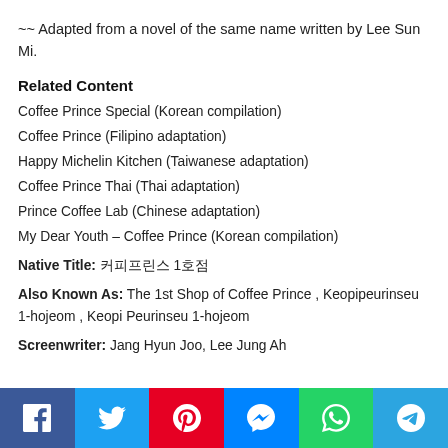~~ Adapted from a novel of the same name written by Lee Sun Mi.
Related Content
Coffee Prince Special (Korean compilation)
Coffee Prince (Filipino adaptation)
Happy Michelin Kitchen (Taiwanese adaptation)
Coffee Prince Thai (Thai adaptation)
Prince Coffee Lab (Chinese adaptation)
My Dear Youth – Coffee Prince (Korean compilation)
Native Title: 커피프린스 1호점
Also Known As: The 1st Shop of Coffee Prince , Keopipeurinseu 1-hojeom , Keopi Peurinseu 1-hojeom
Screenwriter: Jang Hyun Joo, Lee Jung Ah
[Figure (infographic): Social sharing bar with icons for Facebook, Twitter, Pinterest, Messenger, WhatsApp, and Telegram]